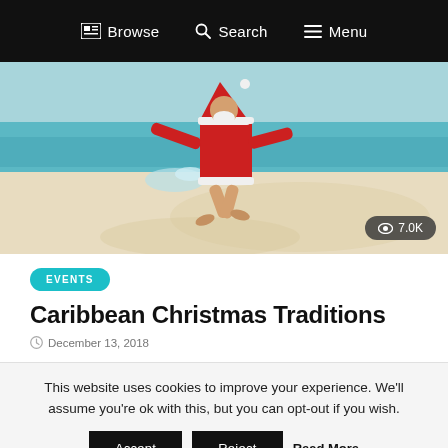Browse  Search  Menu
[Figure (photo): Person in Santa Claus costume jumping on a tropical beach with turquoise water, white sand. View count badge showing 7.0K in bottom right corner.]
EVENTS
Caribbean Christmas Traditions
December 13, 2018
This website uses cookies to improve your experience. We'll assume you're ok with this, but you can opt-out if you wish.
Accept  Reject  Read More